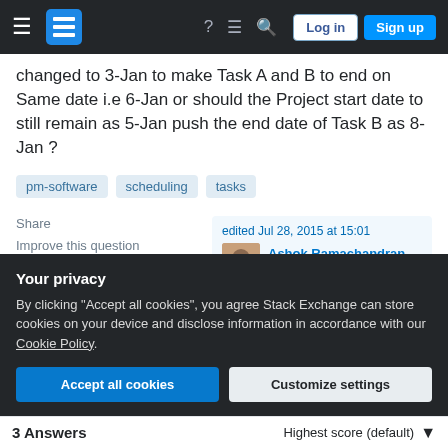Stack Exchange navigation bar with hamburger menu, logo, icons, Log in and Sign up buttons
changed to 3-Jan to make Task A and B to end on Same date i.e 6-Jan or should the Project start date to still remain as 5-Jan push the end date of Task B as 8-Jan ?
pm-software
scheduling
tasks
Share
Improve this question
Follow
edited Jul 28, 2015 at 15:01
Ashok Ramachandran
11k ●1 ●19 ●49
Your privacy
By clicking "Accept all cookies", you agree Stack Exchange can store cookies on your device and disclose information in accordance with our Cookie Policy.
Accept all cookies   Customize settings
3 Answers    Highest score (default)